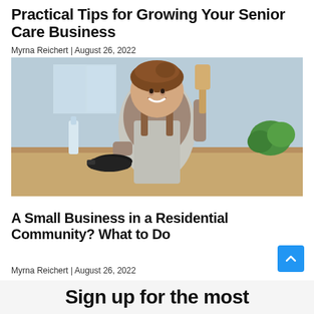Practical Tips for Growing Your Senior Care Business
Myrna Reichert | August 26, 2022
[Figure (photo): A smiling woman in an apron holding a wooden spatula and a frying pan in a kitchen setting]
A Small Business in a Residential Community? What to Do
Myrna Reichert | August 26, 2022
Sign up for the most